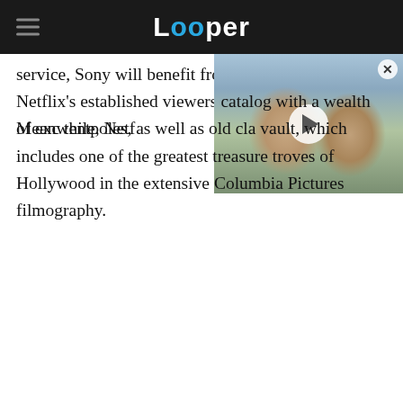Looper
[Figure (photo): Two men posing together at an event, with a video play button overlay]
service, Sony will benefit from Netflix's established viewership. Meanwhile, Netflix will pad its catalog with a wealth of exclusive titles and tentpoles, as well as old classics from Sony's vault, which includes one of the greatest treasure troves of Hollywood in the extensive Columbia Pictures filmography.